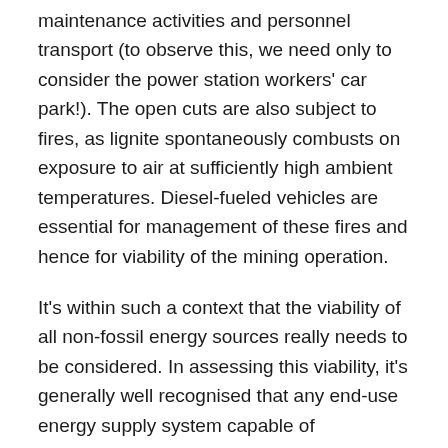maintenance activities and personnel transport (to observe this, we need only to consider the power station workers' car park!). The open cuts are also subject to fires, as lignite spontaneously combusts on exposure to air at sufficiently high ambient temperatures. Diesel-fueled vehicles are essential for management of these fires and hence for viability of the mining operation.
It's within such a context that the viability of all non-fossil energy sources really needs to be considered. In assessing this viability, it's generally well recognised that any end-use energy supply system capable of contributing to what might be considered as a 'sustainable energy supply' must provide sufficiently more energy over its operating life than is required to make it available in the first place, and to then maintain and operate it over its lifetime. It's this that is under consideration when we talk